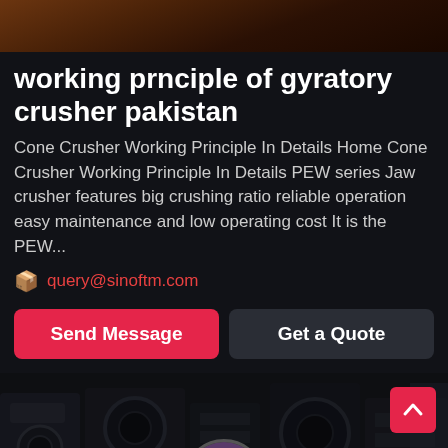[Figure (photo): Dark brown rocky/soil texture image at the top of the page]
working prnciple of gyratory crusher pakistan
Cone Crusher Working Principle In Details Home Cone Crusher Working Principle In Details PEW series Jaw crusher features big crushing ratio reliable operation easy maintenance and low operating cost It is the PEW...
📦 query@sinoftm.com
Send Message | Get a Quote
[Figure (photo): Industrial machinery/crusher equipment photo at the bottom with Leave Message and Chat Online labels and a customer service avatar]